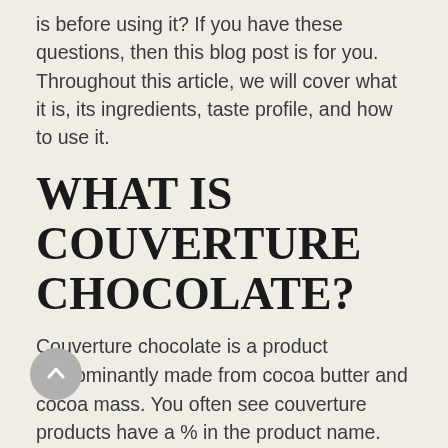is before using it? If you have these questions, then this blog post is for you. Throughout this article, we will cover what it is, its ingredients, taste profile, and how to use it.
WHAT IS COUVERTURE CHOCOLATE?
Couverture chocolate is a product predominantly made from cocoa butter and cocoa mass. You often see couverture products have a % in the product name. This represents the cocoa content inside the couverture chocolate product. The higher the percentage, the higher the